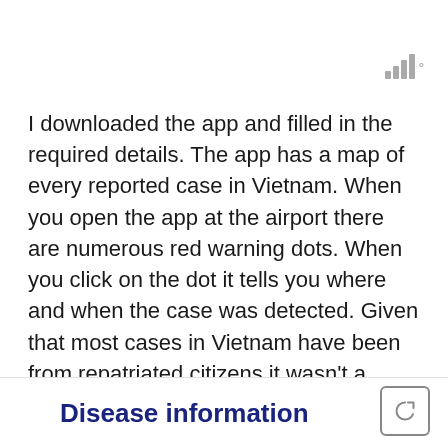[Figure (other): Signal/network strength icon with small degree symbol, shown in gray at top right]
I downloaded the app and filled in the required details. The app has a map of every reported case in Vietnam. When you open the app at the airport there are numerous red warning dots. When you click on the dot it tells you where and when the case was detected. Given that most cases in Vietnam have been from repatriated citizens it wasn't a surprise to see so many cases here.
Disease information